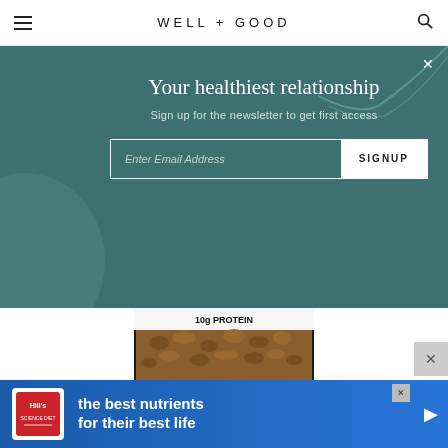WELL+GOOD
Your healthiest relationship
Sign up for the newsletter to get first access
Enter Email Address  SIGNUP
[Figure (photo): Product bag of granola with label reading 10g PROTEIN, GLUTEN FREE, 100% WHOLE GRAINS, 34g PER SERVING, NO GENETICALLY ENGINEERED INGREDIENTS. Black packaging with red band.]
[Figure (infographic): Hill's pet nutrition advertisement banner: Hill's logo on white background, text 'the best nutrients for their best life' on blue gradient background.]